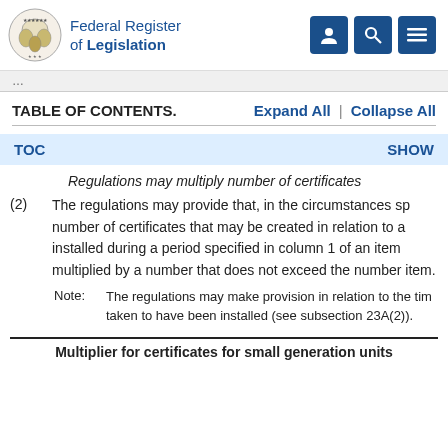Federal Register of Legislation
TABLE OF CONTENTS.   Expand All | Collapse All
TOC   SHOW
Regulations may multiply number of certificates
(2) The regulations may provide that, in the circumstances sp number of certificates that may be created in relation to a installed during a period specified in column 1 of an item multiplied by a number that does not exceed the number item.
Note: The regulations may make provision in relation to the tim taken to have been installed (see subsection 23A(2)).
Multiplier for certificates for small generation units